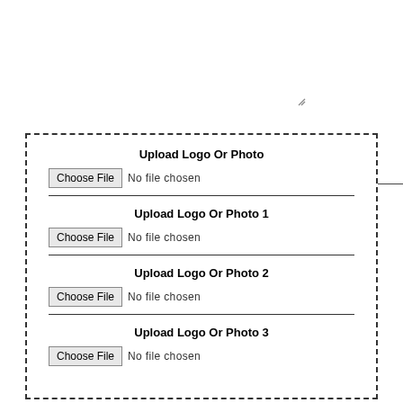[Figure (screenshot): A textarea/text input field mock with a bottom border and a resize handle icon in the bottom-right corner]
[Figure (screenshot): A dashed-border box containing four file upload sections, each with a bold label ('Upload Logo Or Photo', 'Upload Logo Or Photo 1', 'Upload Logo Or Photo 2', 'Upload Logo Or Photo 3'), a Choose File button, 'No file chosen' text, and a horizontal divider line between sections]